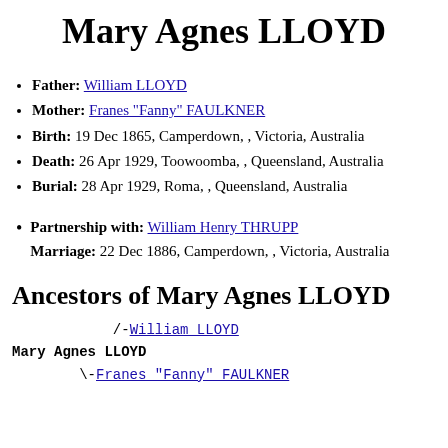Mary Agnes LLOYD
Father: William LLOYD
Mother: Franes "Fanny" FAULKNER
Birth: 19 Dec 1865, Camperdown, , Victoria, Australia
Death: 26 Apr 1929, Toowoomba, , Queensland, Australia
Burial: 28 Apr 1929, Roma, , Queensland, Australia
Partnership with: William Henry THRUPP Marriage: 22 Dec 1886, Camperdown, , Victoria, Australia
Ancestors of Mary Agnes LLOYD
/-William LLOYD
Mary Agnes LLOYD
\-Franes "Fanny" FAULKNER